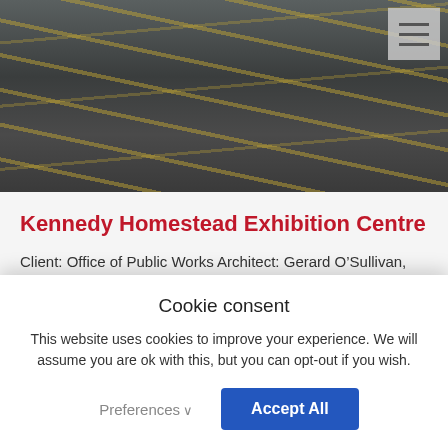[Figure (photo): Aerial or ground-level view of a dark asphalt parking lot with yellow road markings/lines, and a glimpse of landscaping in the upper right corner.]
Kennedy Homestead Exhibition Centre
Client: Office of Public Works Architect: Gerard O’Sullivan, OPW Value: €1m Location: New Ross Description: New build of exhibition centre with restoration to several existing
Cookie consent
This website uses cookies to improve your experience. We will assume you are ok with this, but you can opt-out if you wish.
Preferences∨     Accept All